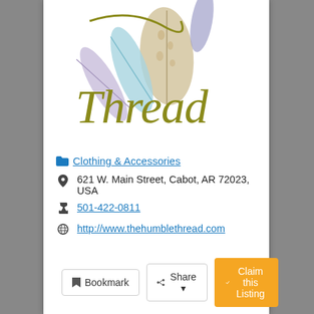[Figure (logo): Humble Thread logo with decorative feathers and script text reading 'Thread' in olive/gold cursive, with colorful feathers above]
Clothing & Accessories
621 W. Main Street, Cabot, AR 72023, USA
501-422-0811
http://www.thehumblethread.com
Bookmark  Share  Claim this Listing